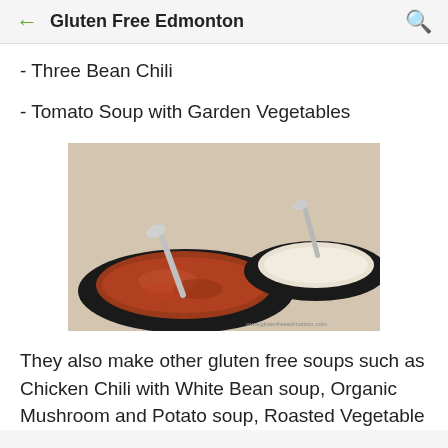Gluten Free Edmonton
- Three Bean Chili
- Tomato Soup with Garden Vegetables
[Figure (photo): Two black bowls of soup on a table — one with red chili/tomato soup and a spoon, one with a creamy white soup and a spoon.]
They also make other gluten free soups such as Chicken Chili with White Bean soup, Organic Mushroom and Potato soup, Roasted Vegetable